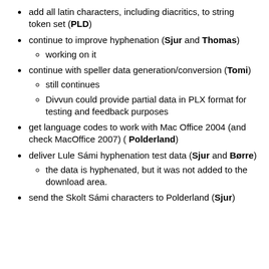add all latin characters, including diacritics, to string token set (PLD)
continue to improve hyphenation (Sjur and Thomas)
  - working on it
continue with speller data generation/conversion (Tomi)
  - still continues
  - Divvun could provide partial data in PLX format for testing and feedback purposes
get language codes to work with Mac Office 2004 (and check MacOffice 2007) ( Polderland)
deliver Lule Sámi hyphenation test data (Sjur and Børre)
  - the data is hyphenated, but it was not added to the download area.
send the Skolt Sámi characters to Polderland (Sjur)